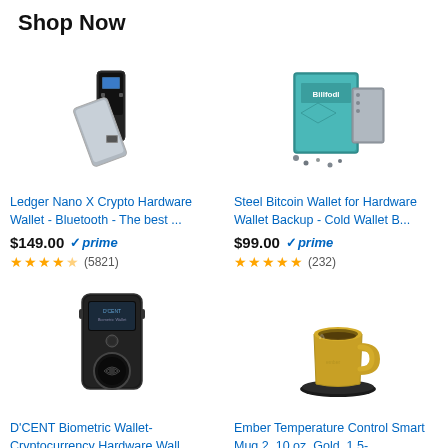Shop Now
[Figure (photo): Ledger Nano X crypto hardware wallet device, silver and black USB stick-like device]
Ledger Nano X Crypto Hardware Wallet - Bluetooth - The best ...
$149.00 ✓prime ★★★★½ (5821)
[Figure (photo): Steel Bitcoin Wallet for Hardware Wallet Backup, teal/green box with metal plates and screws]
Steel Bitcoin Wallet for Hardware Wallet Backup - Cold Wallet B...
$99.00 ✓prime ★★★★★ (232)
[Figure (photo): D'CENT Biometric Wallet, black rectangular device with fingerprint sensor]
D'CENT Biometric Wallet- Cryptocurrency Hardware Wall...
[Figure (photo): Ember Temperature Control Smart Mug 2, gold/champagne colored mug on charging coaster]
Ember Temperature Control Smart Mug 2, 10 oz, Gold, 1.5-...